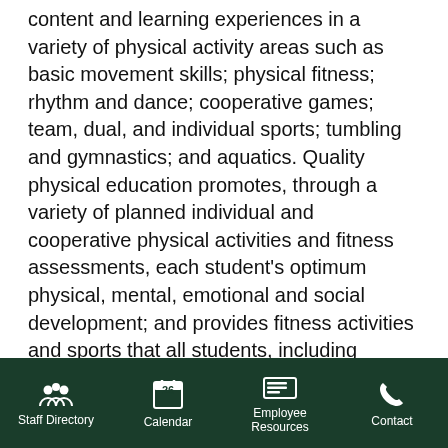content and learning experiences in a variety of physical activity areas such as basic movement skills; physical fitness; rhythm and dance; cooperative games; team, dual, and individual sports; tumbling and gymnastics; and aquatics. Quality physical education promotes, through a variety of planned individual and cooperative physical activities and fitness assessments, each student's optimum physical, mental, emotional and social development; and provides fitness activities and sports that all students, including students with special needs, can enjoy and pursue throughout their lives. Qualified professionals such as physical education teachers and physical activity specialists provide physical education and related fitness activities.
HEALTHY SCHOOL ENVIRONMENT
The Healthy School Environment component relates to the quality of the physical and aesthetic surroundings…
Staff Directory  Calendar  Employee Resources  Contact